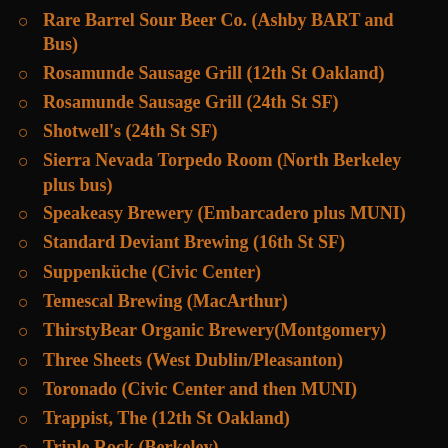Rare Barrel Sour Beer Co. (Ashby BART and Bus)
Rosamunde Sausage Grill (12th St Oakland)
Rosamunde Sausage Grill (24th St SF)
Shotwell's (24th St SF)
Sierra Nevada Torpedo Room (North Berkeley plus bus)
Speakeasy Brewery (Embarcadero plus MUNI)
Standard Deviant Brewing (16th St SF)
Suppenküche (Civic Center)
Temescal Brewing (MacArthur)
ThirstyBear Organic Brewery(Montgomery)
Three Sheets (West Dublin/Pleasanton)
Toronado (Civic Center and then MUNI)
Trappist, The (12th St Oakland)
Triple Rock (Berkeley)
Woods Cervecería de MateVeza (16th St SF)